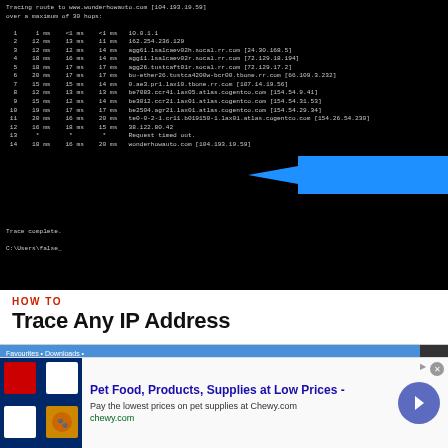[Figure (screenshot): Terminal window showing traceroute output to www.wonderhowauto.com [104.193.19.59] with 14 hops listed, hop 14 highlighted with a blue arrow pointing to wonderhowauto.com [104.193.19.59]. Shows 'Trace complete.' and prompt 'C:\Users\false_']
HOW TO
Trace Any IP Address
[Figure (screenshot): Windows Explorer file manager window showing folders and files with a green 'Save the video' button overlay, alongside a browser download tab]
[Figure (infographic): Advertisement for Chewy.com: Pet Food, Products, Supplies at Low Prices - Pay the lowest prices on pet supplies at Chewy.com. chewy.com]